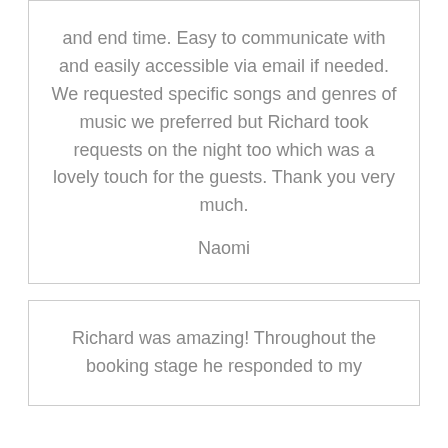and end time. Easy to communicate with and easily accessible via email if needed. We requested specific songs and genres of music we preferred but Richard took requests on the night too which was a lovely touch for the guests. Thank you very much.
Naomi
Richard was amazing! Throughout the booking stage he responded to my